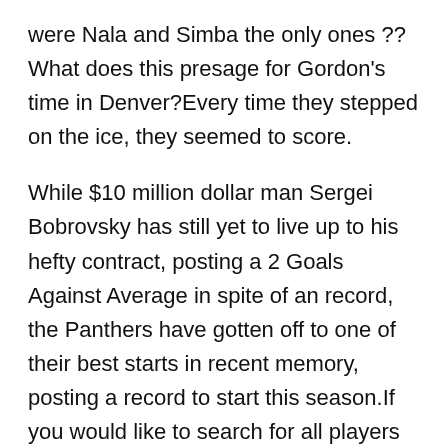were Nala and Simba the only ones ??What does this presage for Gordon's time in Denver?Every time they stepped on the ice, they seemed to score.
While $10 million dollar man Sergei Bobrovsky has still yet to live up to his hefty contract, posting a 2 Goals Against Average in spite of an record, the Panthers have gotten off to one of their best starts in recent memory, posting a record to start this season.If you would like to search for all players born on a certain day, for example all players born on December 25th in any year, choose the month and day with the drop down boxes and then choose the 'Month and Day Search' option.Nikola Jokic is 22 years old and won't turn 23 until February.
The Orioles have been averse to making such moves in recent years, ever fearful of what might happen.Maryland